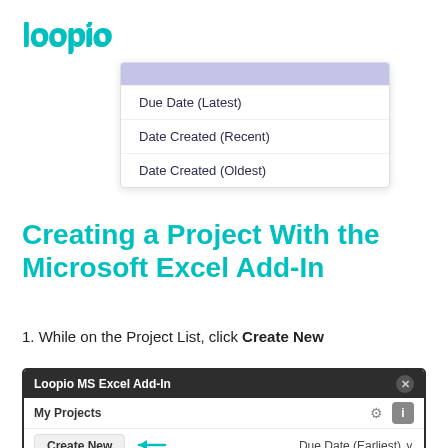[Figure (logo): Loopio logo in teal/cyan color]
[Figure (screenshot): Dropdown menu showing options: Due Date (Latest), Date Created (Recent), Date Created (Oldest) with a purple/lavender highlighted top item]
Creating a Project With the Microsoft Excel Add-In
1. While on the Project List, click Create New
[Figure (screenshot): Loopio MS Excel Add-In panel showing My Projects header with gear and info icons, and Create New button next to Due Date (Earliest) dropdown]